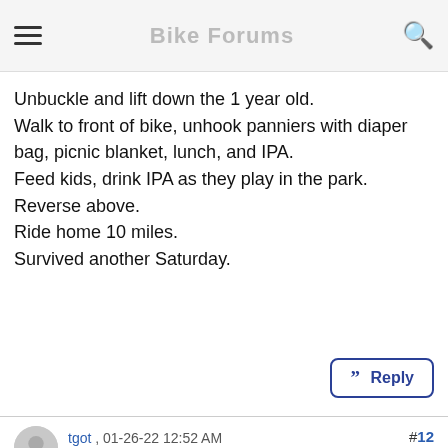Bike Forums
Unbuckle and lift down the 1 year old.
Walk to front of bike, unhook panniers with diaper bag, picnic blanket, lunch, and IPA.
Feed kids, drink IPA as they play in the park.
Reverse above.
Ride home 10 miles.
Survived another Saturday.
”” Reply
#12
tgot , 01-26-22 12:52 AM
Full Member
[Figure (photo): Outdoor sports/park photo showing people in orange vests on a grass field, trees in background, one person wearing a cycling helmet]